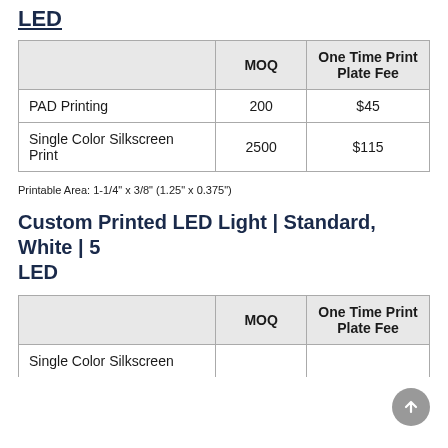LED
|  | MOQ | One Time Print Plate Fee |
| --- | --- | --- |
| PAD Printing | 200 | $45 |
| Single Color Silkscreen Print | 2500 | $115 |
Printable Area: 1-1/4" x 3/8" (1.25" x 0.375")
Custom Printed LED Light | Standard, White | 5 LED
|  | MOQ | One Time Print Plate Fee |
| --- | --- | --- |
| Single Color Silkscreen |  |  |